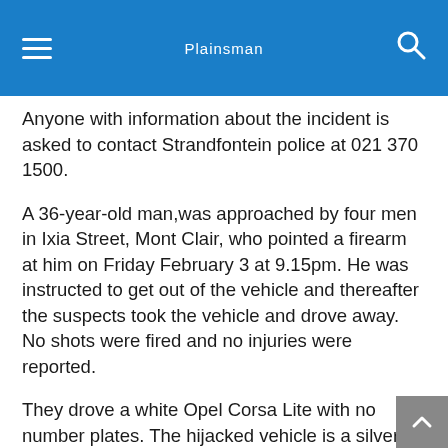Plainsman
Anyone with information about the incident is asked to contact Strandfontein police at 021 370 1500.
A 36-year-old man,was approached by four men in Ixia Street, Mont Clair, who pointed a firearm at him on Friday February 3 at 9.15pm. He was instructed to get out of the vehicle and thereafter the suspects took the vehicle and drove away. No shots were fired and no injuries were reported.
They drove a white Opel Corsa Lite with no number plates. The hijacked vehicle is a silver grey Toyota Corolla with registration number CF 228-102.
The vehicle belongs to the company, Nation Housing, based in Van Riebeek Road in Kuils River.